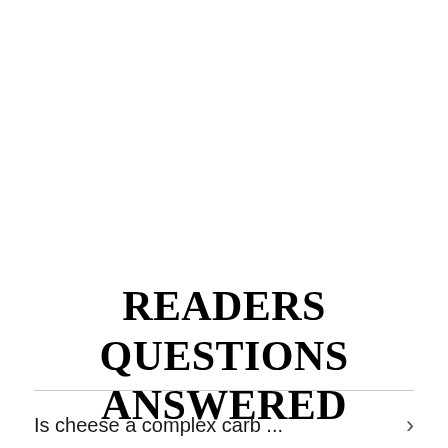READERS QUESTIONS ANSWERED
Is cheese a complex carb ...